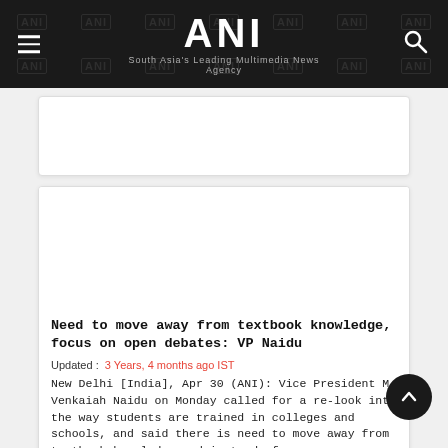ANI — South Asia's Leading Multimedia News Agency
[Figure (other): Advertisement placeholder box (white rectangle with border)]
[Figure (other): Advertisement/article image placeholder (white rectangle)]
Need to move away from textbook knowledge, focus on open debates: VP Naidu
Updated : 3 Years, 4 months ago IST
New Delhi [India], Apr 30 (ANI): Vice President M Venkaiah Naidu on Monday called for a re-look into the way students are trained in colleges and schools, and said there is need to move away from textbook knowledge and instead, focus on open debates...